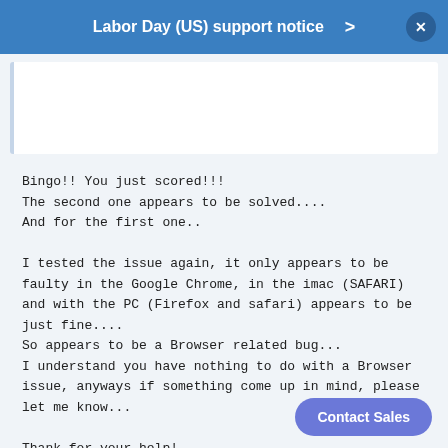Labor Day (US) support notice >
[Figure (screenshot): Blurred/redacted message bubble area above the main message text]
Bingo!! You just scored!!!
The second one appears to be solved....
And for the first one..
I tested the issue again, it only appears to be faulty in the Google Chrome, in the imac (SAFARI) and with the PC (Firefox and safari) appears to be just fine....
So appears to be a Browser related bug...
I understand you have nothing to do with a Browser issue, anyways if something come up in mind, please let me know...

Thank for your help!
Regards,